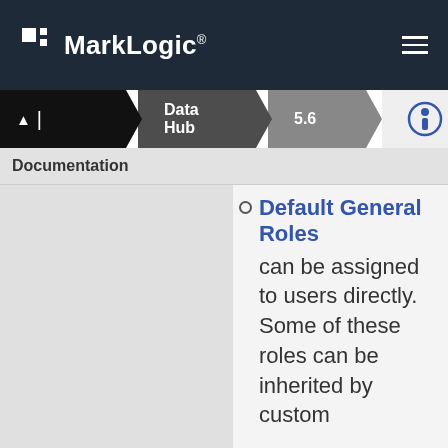MarkLogic
Documentation | Data Hub | 5.6
Default General Roles can be assigned to users directly. Some of these roles can be inherited by custom